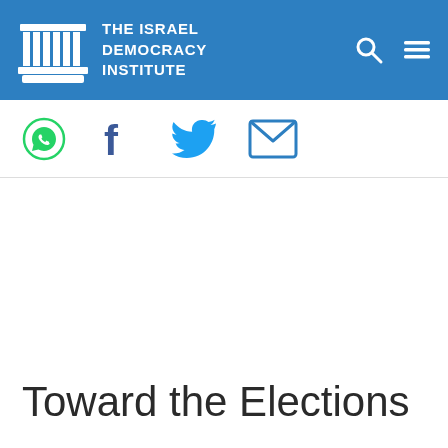THE ISRAEL DEMOCRACY INSTITUTE
[Figure (logo): Israel Democracy Institute logo with pillars icon and text]
[Figure (infographic): Social share icons: WhatsApp, Facebook, Twitter, Email]
Toward the Elections